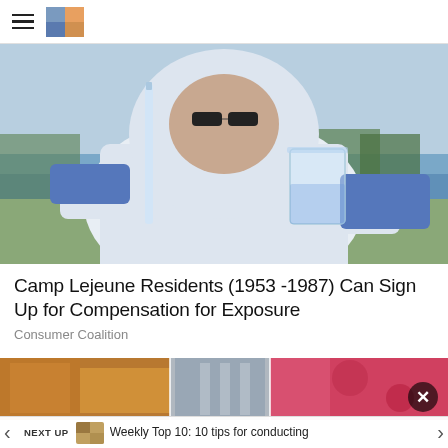≡ [logo]
[Figure (photo): Person in full white protective hazmat suit and blue gloves holding a glass beaker filled with water, examining it against an outdoor background with water/river visible]
Camp Lejeune Residents (1953 -1987) Can Sign Up for Compensation for Exposure
Consumer Coalition
[Figure (photo): Bottom strip showing next article thumbnails with colorful images, a close button (x), navigation arrows, NEXT UP label, and text 'Weekly Top 10: 10 tips for conducting']